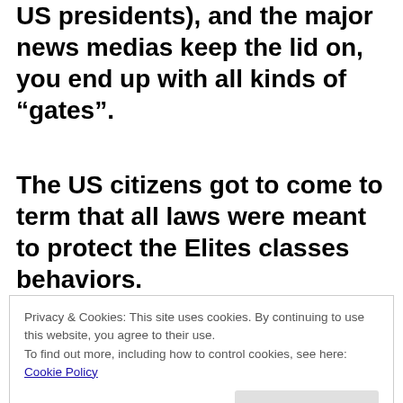US presidents), and the major news medias keep the lid on, you end up with all kinds of “gates”.
The US citizens got to come to term that all laws were meant to protect the Elites classes behaviors.
Privacy & Cookies: This site uses cookies. By continuing to use this website, you agree to their use.
To find out more, including how to control cookies, see here: Cookie Policy
of Myopia? Plenty of outside activities